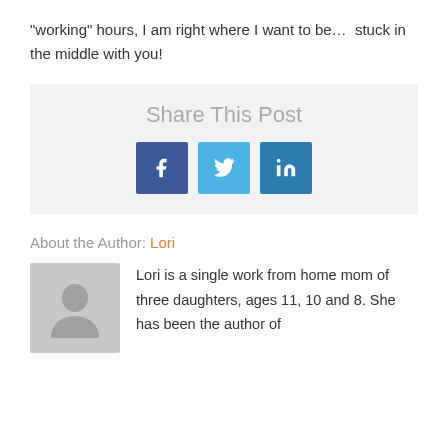“working” hours, I am right where I want to be…  stuck in the middle with you!
[Figure (infographic): Share This Post section with Facebook, Twitter, and LinkedIn social sharing buttons on a light grey background]
About the Author: Lori
Lori is a single work from home mom of three daughters, ages 11, 10 and 8. She has been the author of